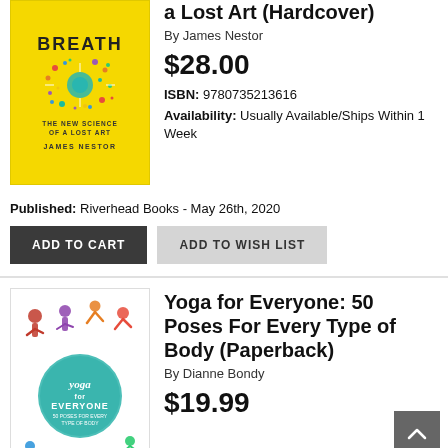[Figure (illustration): Book cover of Breath by James Nestor - yellow background with colorful sparkle/firework design, subtitle 'The New Science of a Lost Art', author name James Nestor]
a Lost Art (Hardcover)
By James Nestor
$28.00
ISBN: 9780735213616
Availability: Usually Available/Ships Within 1 Week
Published: Riverhead Books - May 26th, 2020
ADD TO CART
ADD TO WISH LIST
[Figure (illustration): Book cover of Yoga for Everyone: 50 Poses For Every Type of Body by Dianne Bondy - white background with colorful silhouettes of yoga poses and a teal circle with 'Yoga for Everyone' text]
Yoga for Everyone: 50 Poses For Every Type of Body (Paperback)
By Dianne Bondy
$19.99